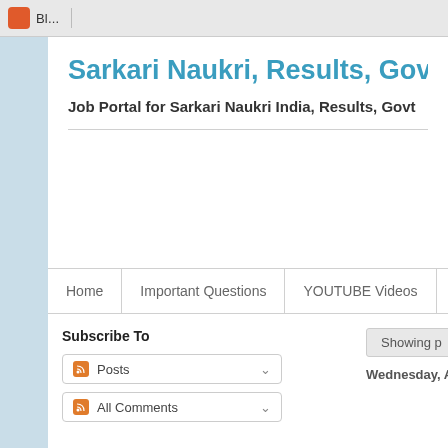Blogger | (browser bar)
Sarkari Naukri, Results, Governme...
Job Portal for Sarkari Naukri India, Results, Govt...
Home | Important Questions | YOUTUBE Videos | Mo...
Subscribe To
Posts
All Comments
Showing p...
Wednesday, August 24...